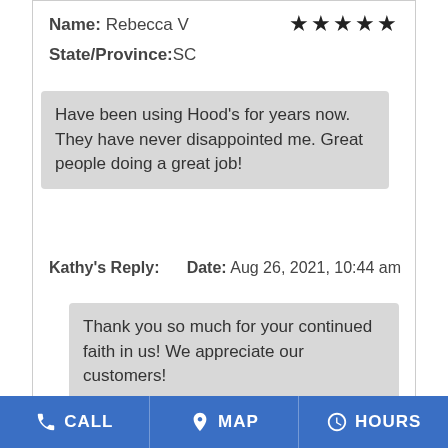Name: Rebecca V
State/Province:SC
Have been using Hood's for years now. They have never disappointed me. Great people doing a great job!
Kathy's Reply:    Date: Aug 26, 2021, 10:44 am
Thank you so much for your continued faith in us! We appreciate our customers!
Date: Aug 20, 2021
Name: Lauren P
State/Province:IN
CALL   MAP   HOURS